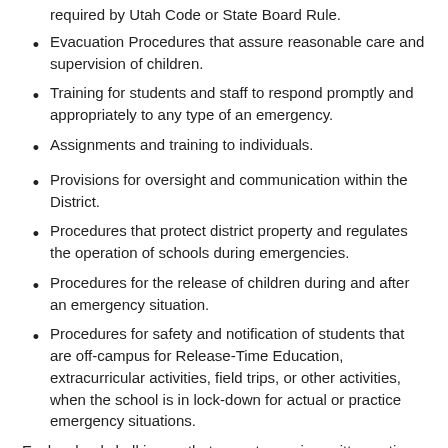required by Utah Code or State Board Rule.
Evacuation Procedures that assure reasonable care and supervision of children.
Training for students and staff to respond promptly and appropriately to any type of an emergency.
Assignments and training to individuals.
Provisions for oversight and communication within the District.
Procedures that protect district property and regulates the operation of schools during emergencies.
Procedures for the release of children during and after an emergency situation.
Procedures for safety and notification of students that are off-campus for Release-Time Education, extracurricular activities, field trips, or other activities, when the school is in lock-down for actual or practice emergency situations.
Each school shall insure that parents receive written notice of relevant sections of the school plans. Schools within the